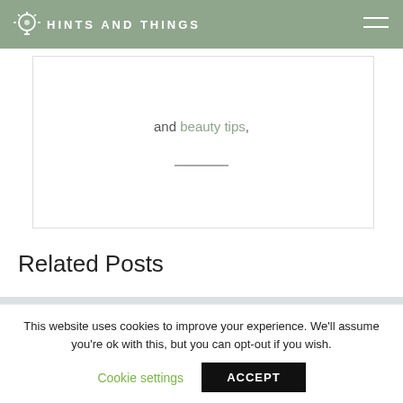HINTS AND THINGS
and beauty tips,
Related Posts
This website uses cookies to improve your experience. We'll assume you're ok with this, but you can opt-out if you wish.
Cookie settings  ACCEPT